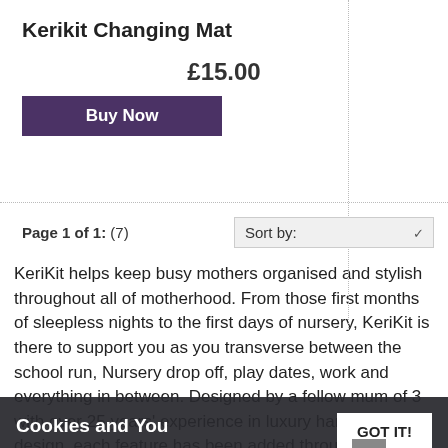Kerikit Changing Mat
£15.00
Buy Now
Page 1 of 1:  (7)
Sort by:
KeriKit helps keep busy mothers organised and stylish throughout all of motherhood. From those first months of sleepless nights to the first days of nursery, KeriKit is there to support you as you transverse between the school run, Nursery drop off, play dates, work and everything in between. Designed by a fellow mum of 3 with over 25 years' experience in luxury handbag design, each feature has been added through Keri's own experiences and need as a working mum. You shouldn't need a different bag for every version of yourself, one bag should be able to do it all and now
Cookies and You
We use cookies on this website. You are free to manage these via your browser settings at any time. For more about how we use cookies, please see our Privacy Policy.
GOT IT!